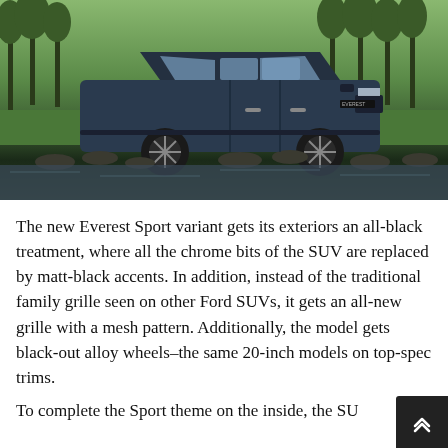[Figure (photo): A dark blue Ford Everest Sport SUV parked in a lush green outdoor setting with trees in the background, rocks and a small body of water/stream in the foreground. The vehicle has black alloy wheels and dark trim.]
The new Everest Sport variant gets its exteriors an all-black treatment, where all the chrome bits of the SUV are replaced by matt-black accents. In addition, instead of the traditional family grille seen on other Ford SUVs, it gets an all-new grille with a mesh pattern. Additionally, the model gets black-out alloy wheels–the same 20-inch models on top-spec trims.
To complete the Sport theme on the inside, the SU